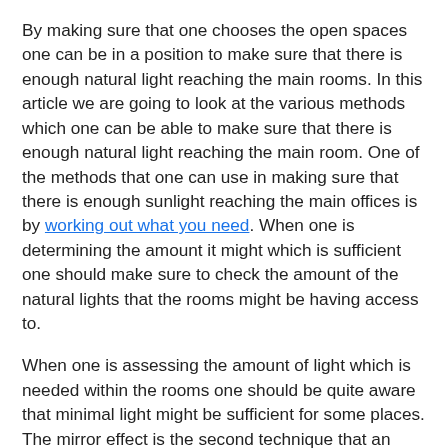By making sure that one chooses the open spaces one can be in a position to make sure that there is enough natural light reaching the main rooms. In this article we are going to look at the various methods which one can be able to make sure that there is enough natural light reaching the main room. One of the methods that one can use in making sure that there is enough sunlight reaching the main offices is by working out what you need. When one is determining the amount it might which is sufficient one should make sure to check the amount of the natural lights that the rooms might be having access to.
When one is assessing the amount of light which is needed within the rooms one should be quite aware that minimal light might be sufficient for some places. The mirror effect is the second technique that an individual can utilise in making sure that there is enough natural light which is getting into the main room. The mirror effect mainly involves reflecting the existing light using the mirror. When one is using the mirrors in